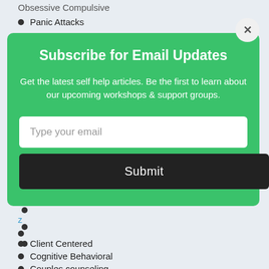Obsessive Compulsive
Panic Attacks
[Figure (screenshot): Modal popup with green background. Title: 'Subscribe for Email Updates'. Body text: 'Get the latest self help articles. Be the first to learn about our upcoming workshops & support groups.' Email input field with placeholder 'Type your email'. Dark submit button labeled 'Submit'. Close button (X) in top-right corner.]
z
Client Centered
Cognitive Behavioral
Couples counseling
Experiential Dynamic Psychotherapy
Family therapy
Grief therapy
Group therapy
Imago therapy Tips
Individual therapy